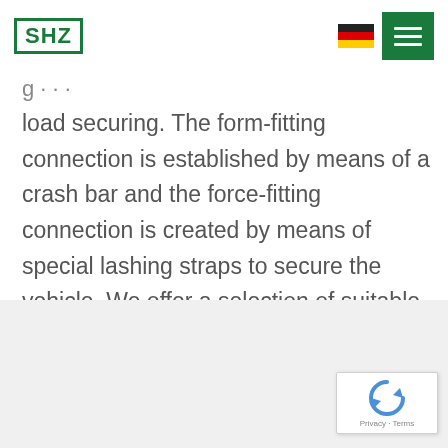SHZ logo and navigation header
load securing. The form-fitting connection is established by means of a crash bar and the force-fitting connection is created by means of special lashing straps to secure the vehicle. We offer a selection of suitable lashing straps.